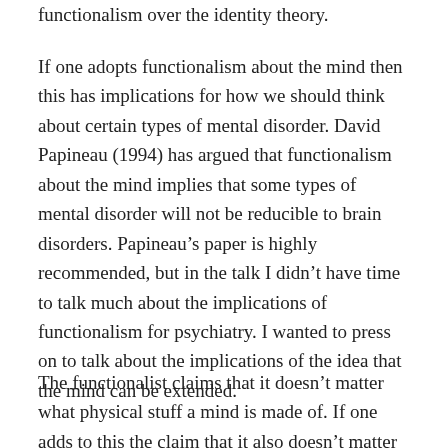functionalism over the identity theory.
If one adopts functionalism about the mind then this has implications for how we should think about certain types of mental disorder. David Papineau (1994) has argued that functionalism about the mind implies that some types of mental disorder will not be reducible to brain disorders. Papineau’s paper is highly recommended, but in the talk I didn’t have time to talk much about the implications of functionalism for psychiatry. I wanted to press on to talk about the implications of the idea that the mind can be extended.
The functionalist claims that it doesn’t matter what physical stuff a mind is made of. If one adds to this the claim that it also doesn’t matter where the physical stuff is located (inside or